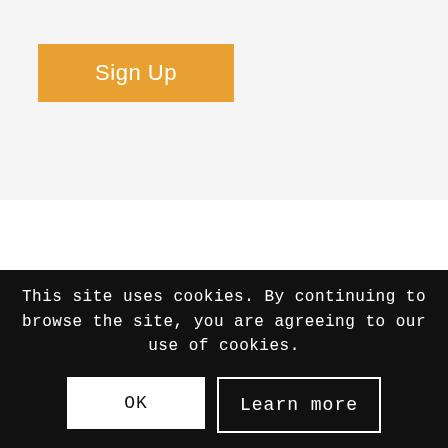[Figure (other): Orange 'Sign Up' button on light gray background]
[Figure (logo): BibRave circular badge logo - orange circle with text 'THE BIBRAVE' in white/orange, surrounded by circular text '2019 | BEST RACES IN THE US' - partially cropped at bottom]
This site uses cookies. By continuing to browse the site, you are agreeing to our use of cookies.
[Figure (other): Two buttons: white 'OK' button and dark 'Learn more' button with white border]